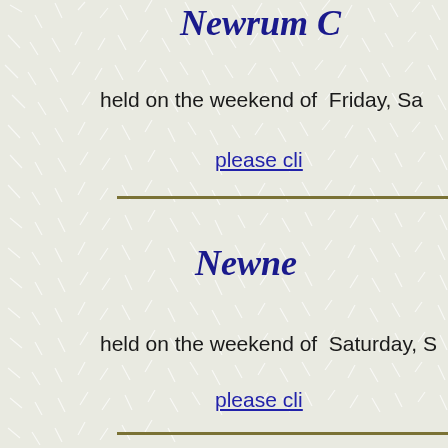Newrum C
held on the weekend of  Friday, Sa
please cli
Newne
held on the weekend of  Saturday, S
please cli
W